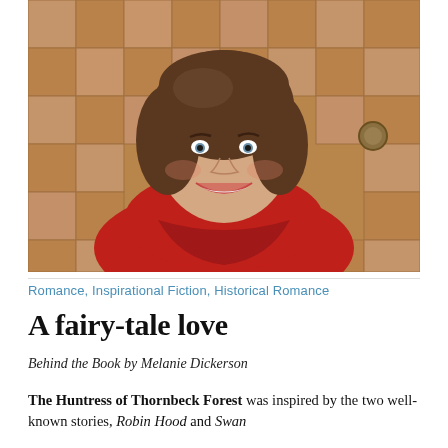[Figure (photo): Portrait photo of a smiling woman with brown hair wearing a red cowl-neck top, posed against a wooden panel background.]
Romance, Inspirational Fiction, Historical Romance
A fairy-tale love
Behind the Book by Melanie Dickerson
The Huntress of Thornbeck Forest was inspired by the two well-known stories, Robin Hood and Swan